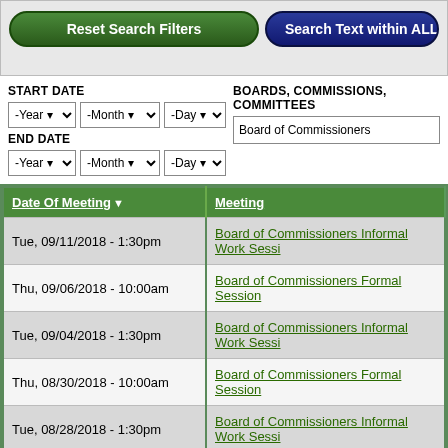[Figure (screenshot): Search filter UI with Reset Search Filters button (green) and Search Text within ALL Do... button (blue)]
START DATE
BOARDS, COMMISSIONS, COMMITTEES
-Year  -Month  -Day
Board of Commissioners
END DATE
-Year  -Month  -Day
| Date Of Meeting | Meeting |
| --- | --- |
| Tue, 09/11/2018 - 1:30pm | Board of Commissioners Informal Work Sessi... |
| Thu, 09/06/2018 - 10:00am | Board of Commissioners Formal Session |
| Tue, 09/04/2018 - 1:30pm | Board of Commissioners Informal Work Sessi... |
| Thu, 08/30/2018 - 10:00am | Board of Commissioners Formal Session |
| Tue, 08/28/2018 - 1:30pm | Board of Commissioners Informal Work Sessi... |
| Thu, 08/23/2018 - 10:00am | Board of Commissioners Formal Session |
| Tue, 08/21/2018 - 1:30pm | Board of Commissioners Informal Work Sessi... |
| Thu, 08/16/2018 - 10:00pm | Board of Commissioners Formal/Informal Sess... |